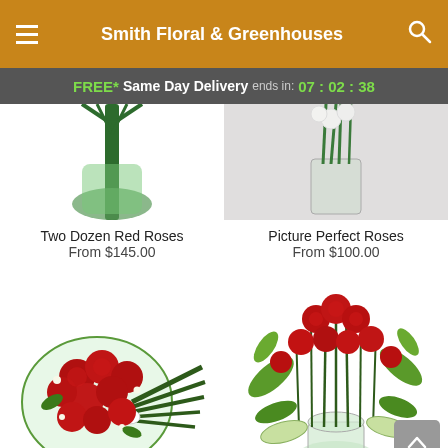Smith Floral & Greenhouses
FREE* Same Day Delivery ends in: 07 : 02 : 38
[Figure (photo): Partial view of two dozen red roses in a vase — top portion only]
[Figure (photo): Partial view of Picture Perfect Roses in a glass vase — top portion only, light gray background]
Two Dozen Red Roses
From $145.00
Picture Perfect Roses
From $100.00
[Figure (photo): A round bouquet of red roses wrapped in green, with decorative greenery stems extending to the right]
[Figure (photo): A vase arrangement of red roses with lush green foliage in a glass vase]